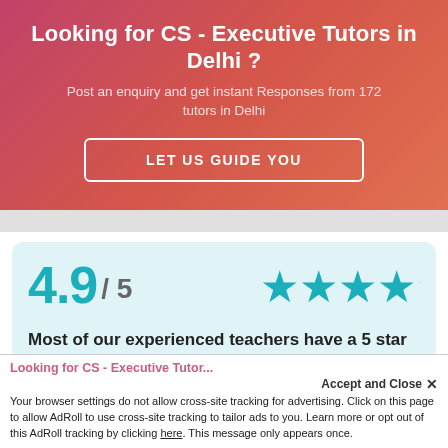Looking for CS - Executive Tutors in Delhi ?
Post an enquiry and get instant Responses from 172 tutors in Delhi
LET US GUIDE YOU
4.9 / 5
[Figure (infographic): Five teal star icons representing a 5-star rating]
Most of our experienced teachers have a 5 star rating with over 6 positive reviews.
Accept and Close ✕
Your browser settings do not allow cross-site tracking for advertising. Click on this page to allow AdRoll to use cross-site tracking to tailor ads to you. Learn more or opt out of this AdRoll tracking by clicking here. This message only appears once.